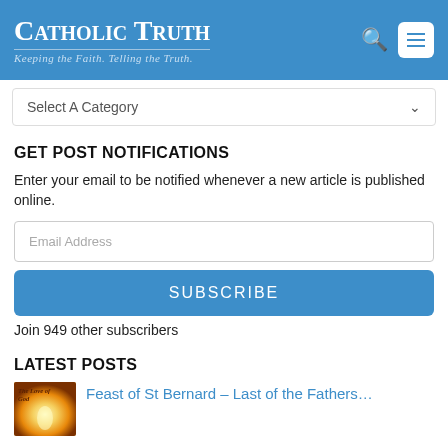Catholic Truth – Keeping the Faith. Telling the Truth.
Select A Category
GET POST NOTIFICATIONS
Enter your email to be notified whenever a new article is published online.
Email Address
SUBSCRIBE
Join 949 other subscribers
LATEST POSTS
[Figure (photo): Thumbnail image with text 'The Love of God' and bright glowing light, orange/golden tones]
Feast of St Bernard – Last of the Fathers…